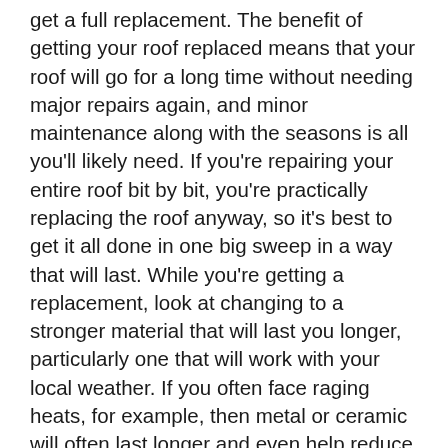get a full replacement. The benefit of getting your roof replaced means that your roof will go for a long time without needing major repairs again, and minor maintenance along with the seasons is all you'll likely need. If you're repairing your entire roof bit by bit, you're practically replacing the roof anyway, so it's best to get it all done in one big sweep in a way that will last. While you're getting a replacement, look at changing to a stronger material that will last you longer, particularly one that will work with your local weather. If you often face raging heats, for example, then metal or ceramic will often last longer and even help reduce your energy costs.
Roof repairs are never an easy thing to deal with, especially when it comes to the financial parts. However, it is highly recommended that homeowners utilize the information above to find ways to reduce as